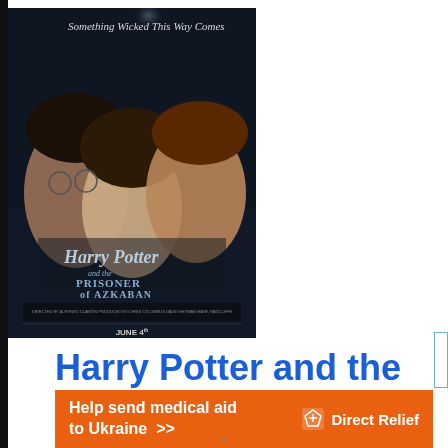[Figure (photo): Harry Potter and the Prisoner of Azkaban movie poster showing three young actors (Harry Potter, Hermione Granger, Ron Weasley) against a dark stormy sky with a full moon. Text reads 'Something Wicked This Way Comes' at the top and 'Harry Potter and the Prisoner of Azkaban' with 'JUNE 4th' at the bottom.]
Harry Potter and the
[Figure (infographic): Orange advertising banner reading 'Help send medical aid to Ukraine >>' with Direct Relief logo and shield icon on the right.]